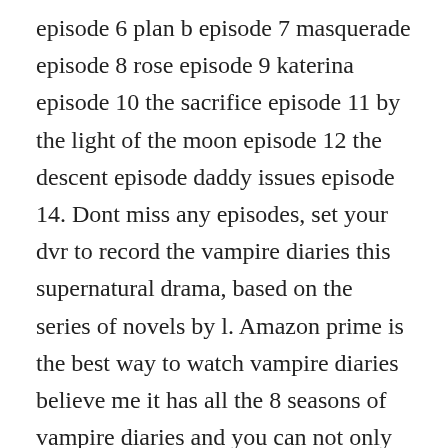episode 6 plan b episode 7 masquerade episode 8 rose episode 9 katerina episode 10 the sacrifice episode 11 by the light of the moon episode 12 the descent episode daddy issues episode 14. Dont miss any episodes, set your dvr to record the vampire diaries this supernatural drama, based on the series of novels by l. Amazon prime is the best way to watch vampire diaries believe me it has all the 8 seasons of vampire diaries and you can not only watch vampire diaries but a whole bunch of stuff like mentalist, doctor who and many many many more. The lives, loves, dangers